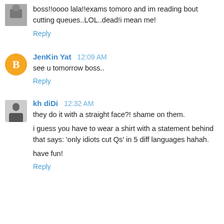boss!!oooo lala!!exams tomoro and im reading bout cutting queues..LOL..dead!i mean me!
Reply
JenKin Yat  12:09 AM
see u tomorrow boss..
Reply
kh diDi  12:32 AM
they do it with a straight face?! shame on them.

i guess you have to wear a shirt with a statement behind that says: 'only idiots cut Qs' in 5 diff languages hahah.

have fun!
Reply